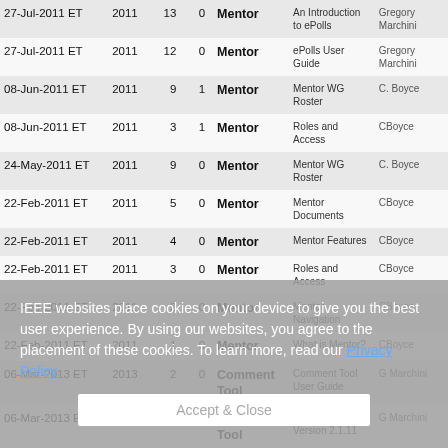| Date | Year | Col3 | Col4 | Tool/WG | Document | Author |
| --- | --- | --- | --- | --- | --- | --- |
| 27-Jul-2011 ET | 2011 | 13 | 0 | Mentor | An Introduction to ePolls | Gregory Marchini |
| 27-Jul-2011 ET | 2011 | 12 | 0 | Mentor | ePolls User Guide | Gregory Marchini |
| 08-Jun-2011 ET | 2011 | 9 | 1 | Mentor | Mentor WG Roster | C. Boyce |
| 08-Jun-2011 ET | 2011 | 3 | 1 | Mentor | Roles and Access | CBoyce |
| 24-May-2011 ET | 2011 | 9 | 0 | Mentor | Mentor WG Roster | C. Boyce |
| 22-Feb-2011 ET | 2011 | 5 | 0 | Mentor | Mentor Documents | CBoyce |
| 22-Feb-2011 ET | 2011 | 4 | 0 | Mentor | Mentor Features | CBoyce |
| 22-Feb-2011 ET | 2011 | 3 | 0 | Mentor | Roles and Access | CBoyce |
| 22-Feb-2011 ET | 2011 | 2 | 0 | Mentor | Mentor Navigation | CBoyce |
| 22-Feb-2011 ET | 2011 | 1 | 0 | Mentor | What is Mentor? | CBoyce |
| 06-Mar-2013 ET | 2013 | 2 | 0 | Comment Tool | Comment Tool User Guide | G Marchini |
| 06-Mar-2013 ET | 2013 | 1 | 0 | Comment Tool | Comment Tool Version 2.1.11 | G Marchini |
| 16-Jul-2012 ET | 2012 | 8 | 0 | Central Desktop | CD Intro Presentation | G Marchini |
| 31-Aug-2012 ET | 2012 | 4 | 3 | Attendance Tool | IMAT Officer | G Marchini |